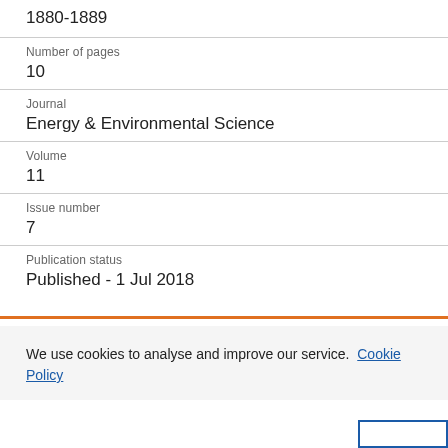1880-1889
Number of pages
10
Journal
Energy & Environmental Science
Volume
11
Issue number
7
Publication status
Published - 1 Jul 2018
We use cookies to analyse and improve our service. Cookie Policy